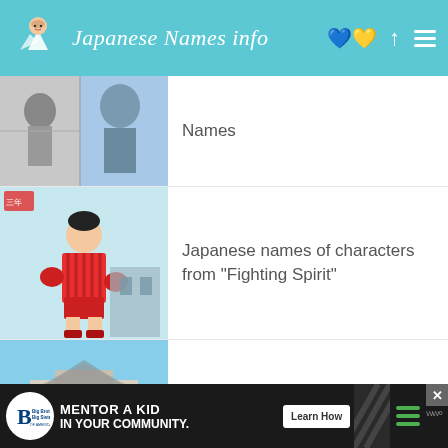Japanese Names info
Names
Japanese names of characters from “Fighting Spirit”
Trends in Japanese names as they change over time
Most common Okinawa family names
Japanese names of characters from “Fist of the
[Figure (infographic): Ad banner: Big Brothers Big Sisters logo, MENTOR A KID IN YOUR COMMUNITY., Learn How button]
Ad banner footer